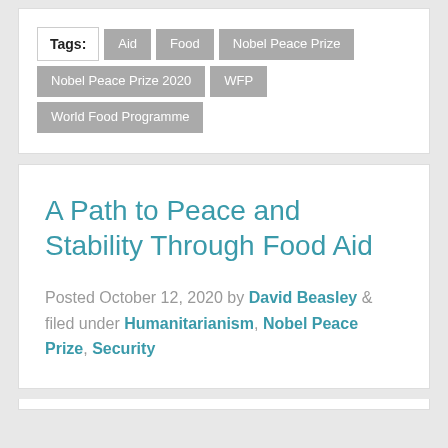Tags: Aid Food Nobel Peace Prize Nobel Peace Prize 2020 WFP World Food Programme
A Path to Peace and Stability Through Food Aid
Posted October 12, 2020 by David Beasley & filed under Humanitarianism, Nobel Peace Prize, Security